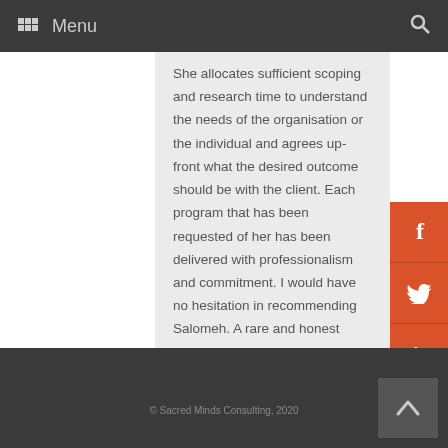Menu
She allocates sufficient scoping and research time to understand the needs of the organisation or the individual and agrees up-front what the desired outcome should be with the client. Each program that has been requested of her has been delivered with professionalism and commitment. I would have no hesitation in recommending Salomeh. A rare and honest talent that delivers the desired outcome."
© Sacred Minds Consulting, 2020